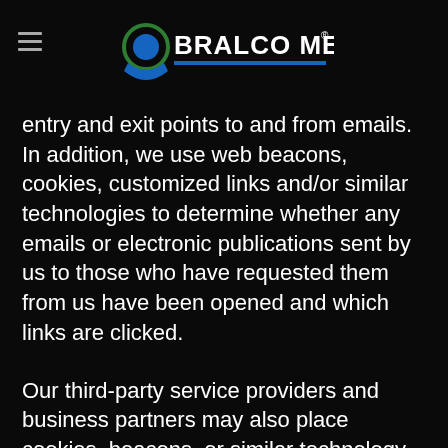Bralco Metals
entry and exit points to and from emails. In addition, we use web beacons, cookies, customized links and/or similar technologies to determine whether any emails or electronic publications sent by us to those who have requested them from us have been opened and which links are clicked.
Our third-party service providers and business partners may also place cookies, beacons, or similar technology to support and improve our Site. For example, we use Google Analytics or similar web traffic analytic tools to help analyze how users use the Site. Such tools use information